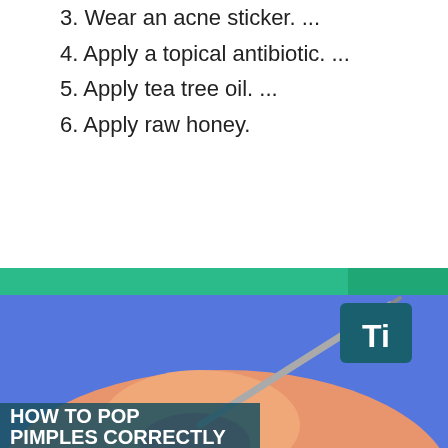3. Wear an acne sticker. ...
4. Apply a topical antibiotic. ...
5. Apply tea tree oil. ...
6. Apply raw honey.
IMPORTANT: Best answer: How do you stop a pimple from forming on your forehead?
[Figure (illustration): Illustration of a needle popping a pimple with text 'HOW TO POP PIMPLES CORRECTLY' and a 'Ti' logo badge in the top right corner. Background is blue with orange/peach skin cross-section.]